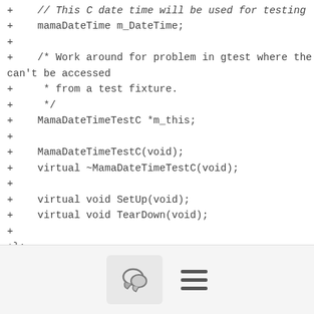+    // This C date time will be used for testing
+    mamaDateTime m_DateTime;
+
+    /* Work around for problem in gtest where the this pointer can't be accessed
+     * from a test fixture.
+     */
+    MamaDateTimeTestC *m_this;
+
+    MamaDateTimeTestC(void);
+    virtual ~MamaDateTimeTestC(void);
+
+    virtual void SetUp(void);
+    virtual void TearDown(void);
+
+};
+
+MamaDateTimeTestC::MamaDateTimeTestC(void)
+{
[Figure (other): Mobile toolbar with chat/comment icon button and hamburger menu icon]